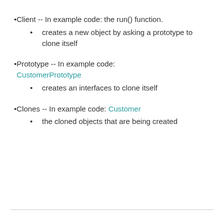Client -- In example code: the run() function.
creates a new object by asking a prototype to clone itself
Prototype -- In example code: CustomerPrototype
creates an interfaces to clone itself
Clones -- In example code: Customer
the cloned objects that are being created